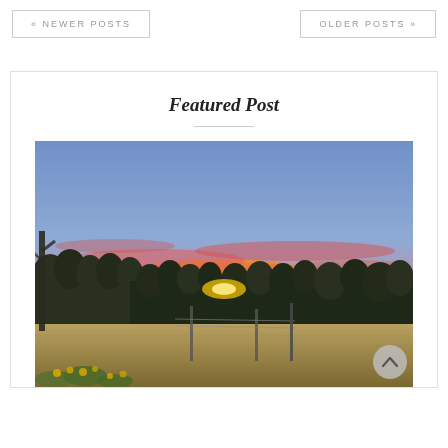« NEWER POSTS
OLDER POSTS »
Featured Post
[Figure (photo): Sunset landscape photo showing vivid pink and orange sky over a tree line silhouette with a golden field in the foreground, fence posts visible, yellow wildflowers at bottom.]